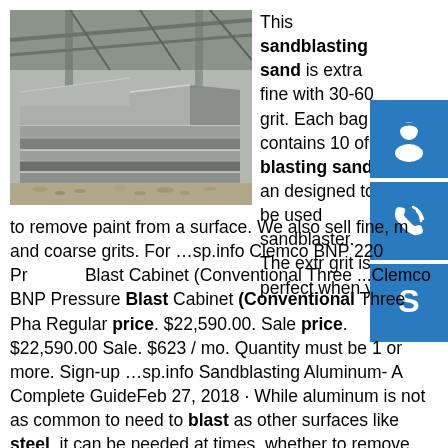[Figure (photo): Photo of stacked metal/steel plates in an industrial warehouse setting with gravel ground]
This sandblasting sand is extra fine with 30-60 grit. Each bag contains 10 of blasting sand, and designed to be used sandblaster. The extra grit is perfect when you to remove paint from a surface. We also sell fine, m and coarse grits. For …sp.info Clemco BNP 220 Pressure Blast Cabinet (Conventional Three ...Clemco BNP Pressure Blast Cabinet (Conventional Three Pha Regular price. $22,590.00. Sale price. $22,590.00 Sale. $623 / mo. Quantity must be 1 or more. Sign-up …sp.info Sandblasting Aluminum- A Complete GuideFeb 27, 2018 · While aluminum is not as common to need to blast as other surfaces like steel, it can be needed at times, whether to remove paint off an aluminum bus or boat or something different there are a few key things to know about sandblasting aluminum common sense and